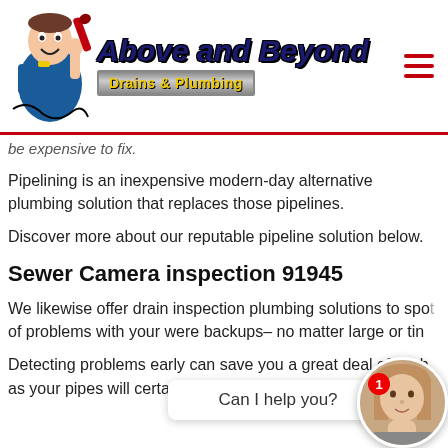[Figure (logo): Above and Beyond Drains & Plumbing logo with cartoon plumber mascot holding a wrench]
be expensive to fix.
Pipelining is an inexpensive modern-day alternative plumbing solution that replaces those pipelines.
Discover more about our reputable pipeline solution below.
Sewer Camera inspection 91945
We likewise offer drain inspection plumbing solutions to spot of problems with your were backups– no matter large or tin
Detecting problems early can save you a great deal of cash, as your pipes will certainly not be harmed as much.
[Figure (screenshot): Chat widget with 'Can I help you?' bubble and female avatar with red notification badge showing 1]